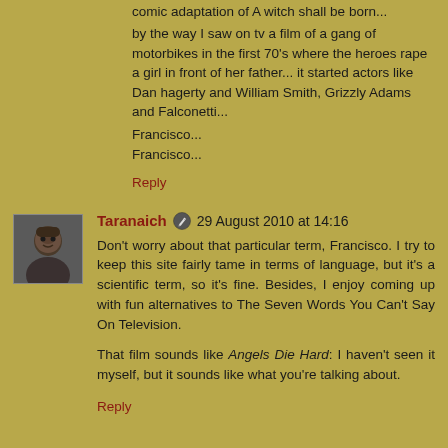comic adaptation of A witch shall be born...
by the way I saw on tv a film of a gang of motorbikes in the first 70's where the heroes rape a girl in front of her father... it started actors like Dan hagerty and William Smith, Grizzly Adams and Falconetti...
Francisco...
Francisco...
Reply
Taranaich  29 August 2010 at 14:16
Don't worry about that particular term, Francisco. I try to keep this site fairly tame in terms of language, but it's a scientific term, so it's fine. Besides, I enjoy coming up with fun alternatives to The Seven Words You Can't Say On Television.

That film sounds like Angels Die Hard: I haven't seen it myself, but it sounds like what you're talking about.
Reply